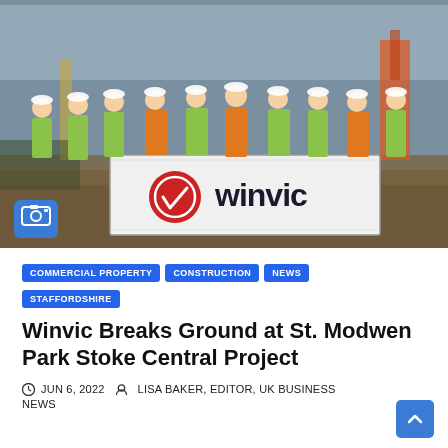[Figure (photo): Group of construction workers in hi-vis vests and hard hats standing in front of a Winvic branded sign on a construction site, with a yellow digger visible in the background]
COMMERCIAL PROPERTY
CONSTRUCTION
NEWS
STAFFORDSHIRE
Winvic Breaks Ground at St. Modwen Park Stoke Central Project
JUN 6, 2022   LISA BAKER, EDITOR, UK BUSINESS NEWS